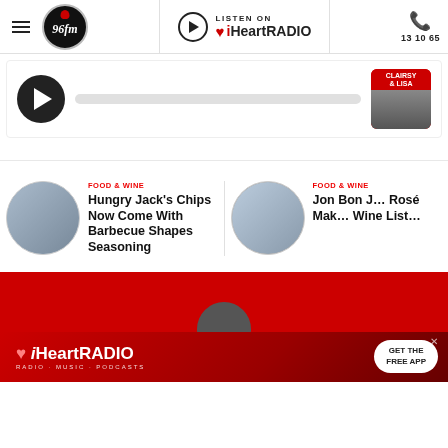96FM Perth | Listen on iHeartRADIO | 13 10 65
[Figure (screenshot): Audio player bar with play button, progress bar, and Clairsy & Lisa show thumbnail]
FOOD & WINE
Hungry Jack's Chips Now Come With Barbecue Shapes Seasoning
FOOD & WINE
Jon Bon Jovi Rosé Makes Wine List...
[Figure (screenshot): Red banner section with partial person circle visible]
[Figure (screenshot): iHeartRADIO advertisement banner - GET THE FREE APP]